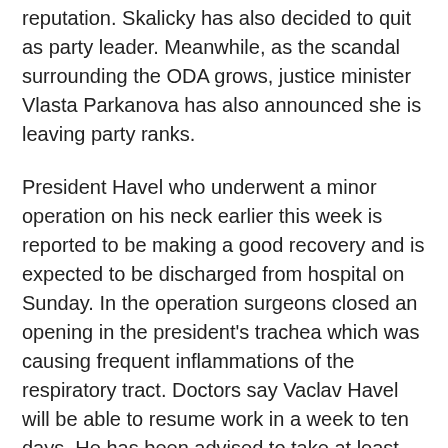reputation. Skalicky has also decided to quit as party leader. Meanwhile, as the scandal surrounding the ODA grows, justice minister Vlasta Parkanova has also announced she is leaving party ranks.
President Havel who underwent a minor operation on his neck earlier this week is reported to be making a good recovery and is expected to be discharged from hospital on Sunday. In the operation surgeons closed an opening in the president's trachea which was causing frequent inflammations of the respiratory tract. Doctors say Vaclav Havel will be able to resume work in a week to ten days. He has been advised to take at least two holidays a year and spend them at the seaside or in the mountains.
Czech hockey fans went wild Friday morning when the Czech republic beat Canada and moved into the Olympic final. The teams had finished 1:1 at the end of the third